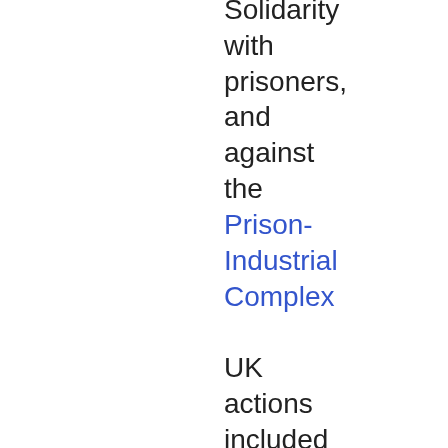Solidarity with prisoners, and against the Prison-Industrial Complex

UK actions included a noise demo at Holloway women's prison and young offenders' unit, a flashmob at